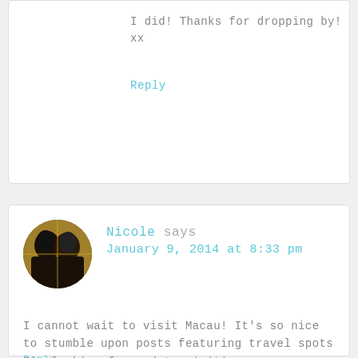I did! Thanks for dropping by! xx
Reply
Nicole says
January 9, 2014 at 8:33 pm
I cannot wait to visit Macau! It’s so nice to stumble upon posts featuring travel spots I’m looking forward to visiting.
Reply
admin says